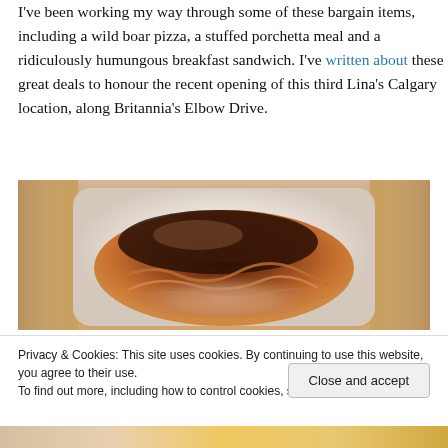I've been working my way through some of these bargain items, including a wild boar pizza, a stuffed porchetta meal and a ridiculously humungous breakfast sandwich. I've written about these great deals to honour the recent opening of this third Lina's Calgary location, along Britannia's Elbow Drive.
[Figure (photo): Close-up photo of a roasted porchetta (seasoned rolled pork roast) in a white takeout container, showing golden-brown crispy skin and layered meat, placed on a wooden surface.]
Privacy & Cookies: This site uses cookies. By continuing to use this website, you agree to their use. To find out more, including how to control cookies, see here: Cookie Policy